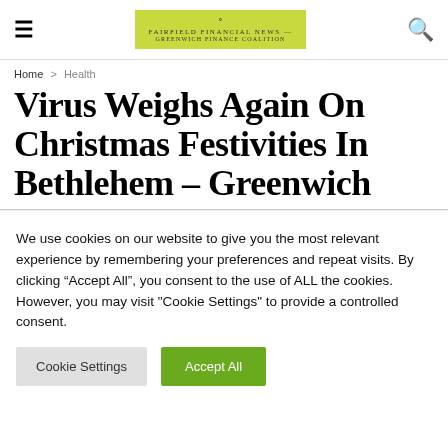≡  [Logo: Fairfield Financial News / Greenwich Finance Coalition]  🔍
Home > Health
Virus Weighs Again On Christmas Festivities In Bethlehem – Greenwich
We use cookies on our website to give you the most relevant experience by remembering your preferences and repeat visits. By clicking "Accept All", you consent to the use of ALL the cookies. However, you may visit "Cookie Settings" to provide a controlled consent.
Cookie Settings  |  Accept All